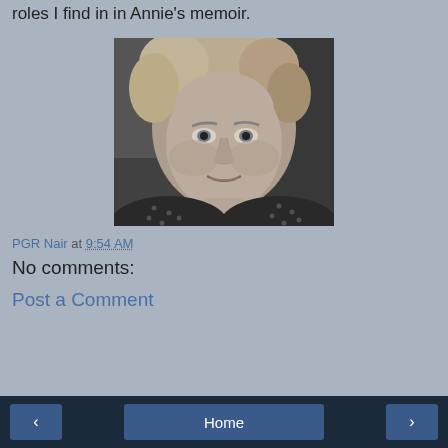roles I find in in Annie's memoir.
[Figure (photo): Black and white portrait photograph of a middle-aged woman with curly/wavy light hair, looking directly at the camera with a slight smile, wearing a patterned top.]
PGR Nair at 9:54 AM
No comments:
Post a Comment
< Home >